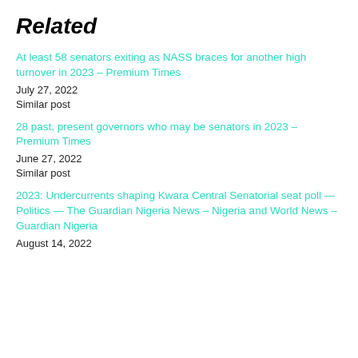Related
At least 58 senators exiting as NASS braces for another high turnover in 2023 – Premium Times
July 27, 2022
Similar post
28 past, present governors who may be senators in 2023 – Premium Times
June 27, 2022
Similar post
2023: Undercurrents shaping Kwara Central Senatorial seat poll — Politics — The Guardian Nigeria News – Nigeria and World News – Guardian Nigeria
August 14, 2022